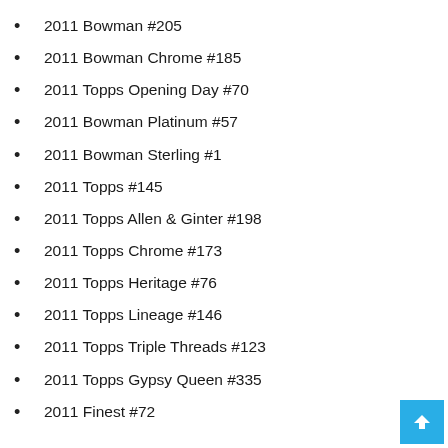2011 Bowman #205
2011 Bowman Chrome #185
2011 Topps Opening Day #70
2011 Bowman Platinum #57
2011 Bowman Sterling #1
2011 Topps #145
2011 Topps Allen & Ginter #198
2011 Topps Chrome #173
2011 Topps Heritage #76
2011 Topps Lineage #146
2011 Topps Triple Threads #123
2011 Topps Gypsy Queen #335
2011 Finest #72